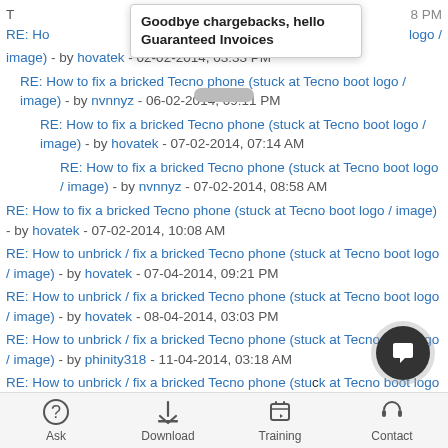[Figure (screenshot): Tooltip/popup overlay showing text: Goodbye chargebacks, hello Guaranteed Invoices]
RE: How to fix a bricked Tecno phone (stuck at Tecno boot logo / image) - by hovatek - 02-02-2014, 03:33 PM
RE: How to fix a bricked Tecno phone (stuck at Tecno boot logo / image) - by nvnnyz - 06-02-2014, 09:11 PM
RE: How to fix a bricked Tecno phone (stuck at Tecno boot logo / image) - by hovatek - 07-02-2014, 07:14 AM
RE: How to fix a bricked Tecno phone (stuck at Tecno boot logo / image) - by nvnnyz - 07-02-2014, 08:58 AM
RE: How to fix a bricked Tecno phone (stuck at Tecno boot logo / image) - by hovatek - 07-02-2014, 10:08 AM
RE: How to unbrick / fix a bricked Tecno phone (stuck at Tecno boot logo / image) - by hovatek - 07-04-2014, 09:21 PM
RE: How to unbrick / fix a bricked Tecno phone (stuck at Tecno boot logo / image) - by hovatek - 08-04-2014, 03:03 PM
RE: How to unbrick / fix a bricked Tecno phone (stuck at Tecno boot logo / image) - by phinity318 - 11-04-2014, 03:18 AM
RE: How to unbrick / fix a bricked Tecno phone (stuck at Tecno boot logo / image) - by hellowkid - 21-04-2014, 05:53 PM
RE: How to unbrick / fix a bricked Tecno phone (stuck at Tecno boot logo / image) (partial)
Ask  Download  Training  Contact